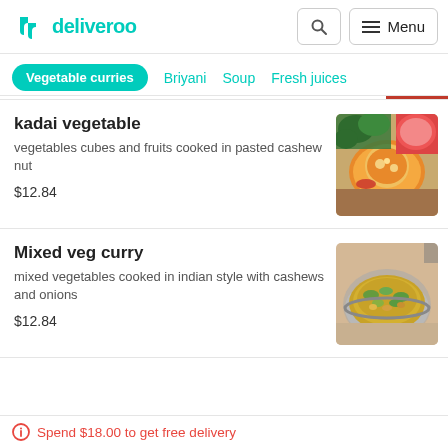deliveroo
Vegetable curries
Briyani
Soup
Fresh juices
kadai vegetable
vegetables cubes and fruits cooked in pasted cashew nut
$12.84
[Figure (photo): Bowl of kadai vegetable curry with greenery in background]
Mixed veg curry
mixed vegetables cooked in indian style with cashews and onions
$12.84
[Figure (photo): Bowl of mixed veg curry with vegetables in a steel pan]
Spend $18.00 to get free delivery